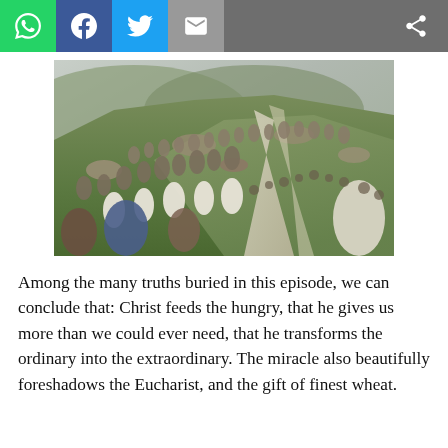[Figure (illustration): Painting depicting a large crowd of people gathered on a green hillside, likely the miracle of the loaves and fishes. Hundreds of figures in robes are seated across the terraced hillside with rocky outcroppings. The scene has an impressionistic painterly style.]
Among the many truths buried in this episode, we can conclude that: Christ feeds the hungry, that he gives us more than we could ever need, that he transforms the ordinary into the extraordinary. The miracle also beautifully foreshadows the Eucharist, and the gift of finest wheat.